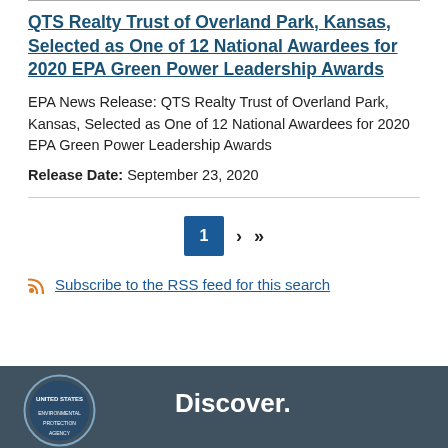QTS Realty Trust of Overland Park, Kansas, Selected as One of 12 National Awardees for 2020 EPA Green Power Leadership Awards
EPA News Release: QTS Realty Trust of Overland Park, Kansas, Selected as One of 12 National Awardees for 2020 EPA Green Power Leadership Awards
Release Date: September 23, 2020
1 › »
Subscribe to the RSS feed for this search
Discover.